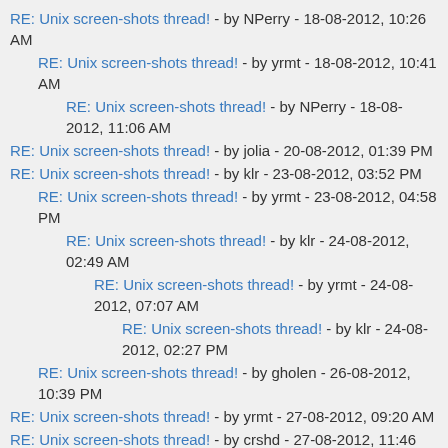RE: Unix screen-shots thread! - by NPerry - 18-08-2012, 10:26 AM
RE: Unix screen-shots thread! - by yrmt - 18-08-2012, 10:41 AM
RE: Unix screen-shots thread! - by NPerry - 18-08-2012, 11:06 AM
RE: Unix screen-shots thread! - by jolia - 20-08-2012, 01:39 PM
RE: Unix screen-shots thread! - by klr - 23-08-2012, 03:52 PM
RE: Unix screen-shots thread! - by yrmt - 23-08-2012, 04:58 PM
RE: Unix screen-shots thread! - by klr - 24-08-2012, 02:49 AM
RE: Unix screen-shots thread! - by yrmt - 24-08-2012, 07:07 AM
RE: Unix screen-shots thread! - by klr - 24-08-2012, 02:27 PM
RE: Unix screen-shots thread! - by gholen - 26-08-2012, 10:39 PM
RE: Unix screen-shots thread! - by yrmt - 27-08-2012, 09:20 AM
RE: Unix screen-shots thread! - by crshd - 27-08-2012, 11:46